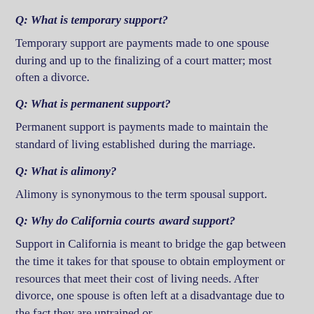Q: What is temporary support?
Temporary support are payments made to one spouse during and up to the finalizing of a court matter; most often a divorce.
Q: What is permanent support?
Permanent support is payments made to maintain the standard of living established during the marriage.
Q: What is alimony?
Alimony is synonymous to the term spousal support.
Q: Why do California courts award support?
Support in California is meant to bridge the gap between the time it takes for that spouse to obtain employment or resources that meet their cost of living needs. After divorce, one spouse is often left at a disadvantage due to the fact they are untrained or